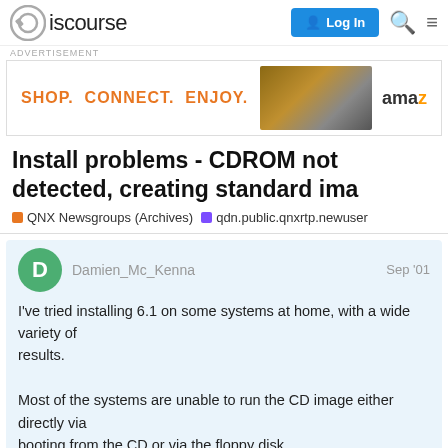Discourse | Log In
ADVERTISEMENT
[Figure (other): Amazon advertisement banner showing 'SHOP. CONNECT. ENJOY.' with product images and Amazon logo]
Install problems - CDROM not detected, creating standard ima
QNX Newsgroups (Archives)   qdn.public.qnxrtp.newuser
Damien_Mc_Kenna  Sep '01
I've tried installing 6.1 on some systems at home, with a wide variety of results.

Most of the systems are unable to run the CD image either directly via booting from the CD or via the floppy disk,
1 / 3